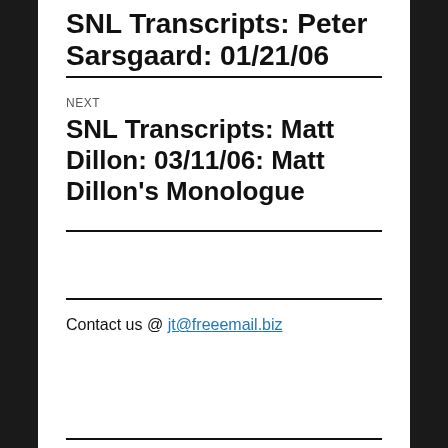SNL Transcripts: Peter Sarsgaard: 01/21/06
NEXT
SNL Transcripts: Matt Dillon: 03/11/06: Matt Dillon's Monologue
Contact us @ jt@freeemail.biz